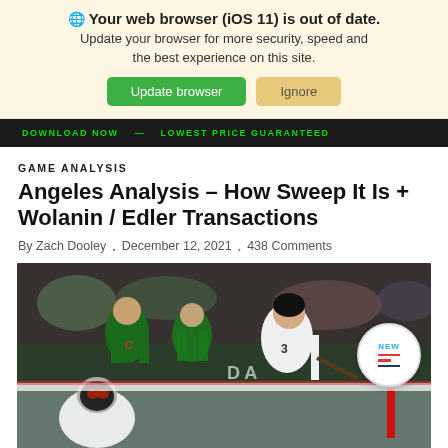🌐 Your web browser (iOS 11) is out of date. Update your browser for more security, speed and the best experience on this site.
Update browser | Ignore
[Figure (screenshot): Dark advertisement banner with green text: DOWNLOAD NOW • LOWEST PRICE GUARANTEED]
GAME ANALYSIS
Angeles Analysis – How Sweep It Is + Wolanin / Edler Transactions
By Zach Dooley · December 12, 2021 · 438 Comments
[Figure (photo): Hockey game action photo showing LA Kings player #3 in white jersey skating near the net with Minnesota Wild players in green jerseys in the background. A goalie in patterned mask is visible in the foreground.]